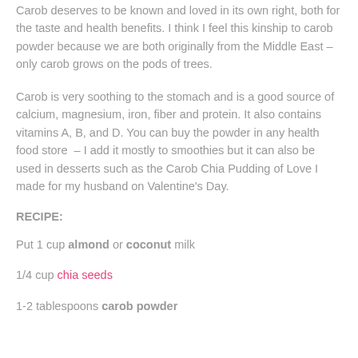Carob deserves to be known and loved in its own right, both for the taste and health benefits. I think I feel this kinship to carob powder because we are both originally from the Middle East – only carob grows on the pods of trees.
Carob is very soothing to the stomach and is a good source of calcium, magnesium, iron, fiber and protein. It also contains vitamins A, B, and D. You can buy the powder in any health food store  – I add it mostly to smoothies but it can also be used in desserts such as the Carob Chia Pudding of Love I made for my husband on Valentine's Day.
RECIPE:
Put 1 cup almond or coconut milk
1/4 cup chia seeds
1-2 tablespoons carob powder